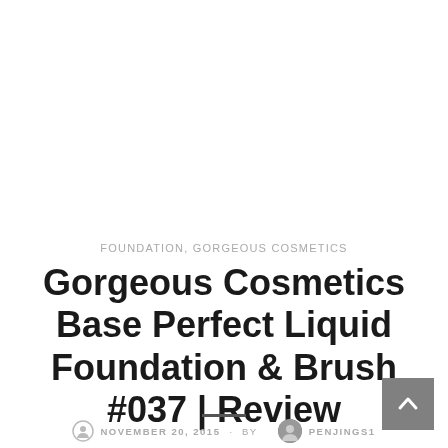FOUNDATION, GORGEOUS COSMETICS
Gorgeous Cosmetics Base Perfect Liquid Foundation & Brush #037 | Review
NOVEMBER 20, 2015 · BY PENJINGS1